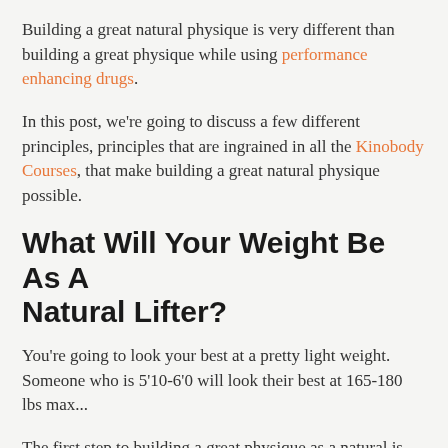Building a great natural physique is very different than building a great physique while using performance enhancing drugs.
In this post, we're going to discuss a few different principles, principles that are ingrained in all the Kinobody Courses, that make building a great natural physique possible.
What Will Your Weight Be As A Natural Lifter?
You're going to look your best at a pretty light weight. Someone who is 5'10-6'0 will look their best at 165-180 lbs max...
The first step to building a great physique as a natural is realizing just that. Granted, you build up a decent level of